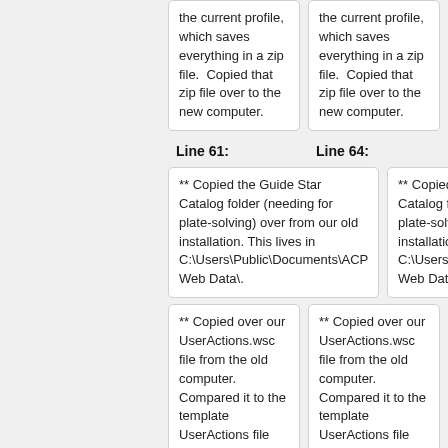the current profile, which saves everything in a zip file.  Copied that zip file over to the new computer.
the current profile, which saves everything in a zip file.  Copied that zip file over to the new computer.
Line 61:
Line 64:
** Copied the Guide Star Catalog folder (needing for plate-solving) over from our old installation.  This lives in C:\Users\Public\Documents\ACP Web Data\.
** Copied the Guide Star Catalog folder (needing for plate-solving) over from our old installation.  This lives in C:\Users\Public\Documents\ACP Web Data\.
** Copied over our UserActions.wsc file from the old computer.  Compared it to the template UserActions file
** Copied over our UserActions.wsc file from the old computer.  Compared it to the template UserActions file